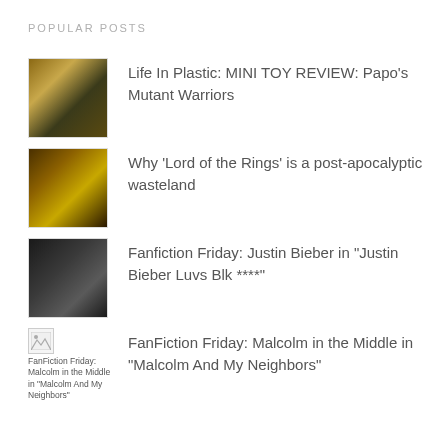POPULAR POSTS
Life In Plastic: MINI TOY REVIEW: Papo's Mutant Warriors
Why 'Lord of the Rings' is a post-apocalyptic wasteland
Fanfiction Friday: Justin Bieber in "Justin Bieber Luvs Blk ****"
FanFiction Friday: Malcolm in the Middle in "Malcolm And My Neighbors"